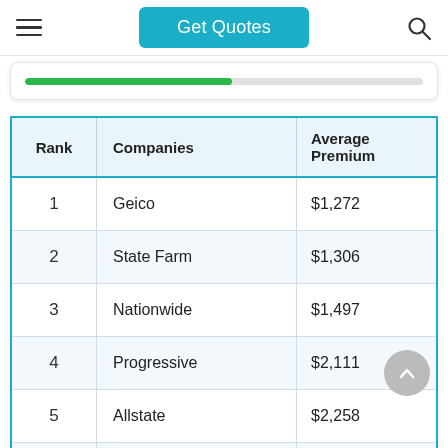Get Quotes
| Rank | Companies | Average Premium |
| --- | --- | --- |
| 1 | Geico | $1,272 |
| 2 | State Farm | $1,306 |
| 3 | Nationwide | $1,497 |
| 4 | Progressive | $2,111 |
| 5 | Allstate | $2,258 |
| 6 | Farmers | $2,262 |